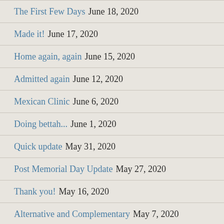The First Few Days June 18, 2020
Made it! June 17, 2020
Home again, again June 15, 2020
Admitted again June 12, 2020
Mexican Clinic June 6, 2020
Doing bettah... June 1, 2020
Quick update May 31, 2020
Post Memorial Day Update May 27, 2020
Thank you! May 16, 2020
Alternative and Complementary May 7, 2020